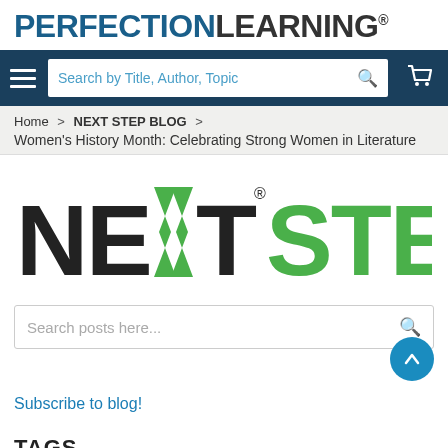PERFECTION LEARNING®
[Figure (logo): Perfection Learning logo in blue and dark text with registered trademark]
Search by Title, Author, Topic
Home > NEXT STEP BLOG > Women's History Month: Celebrating Strong Women in Literature
[Figure (logo): NEXT STEP logo with green chevron arrow and green STEP text]
Search posts here...
Subscribe to blog!
TAGS